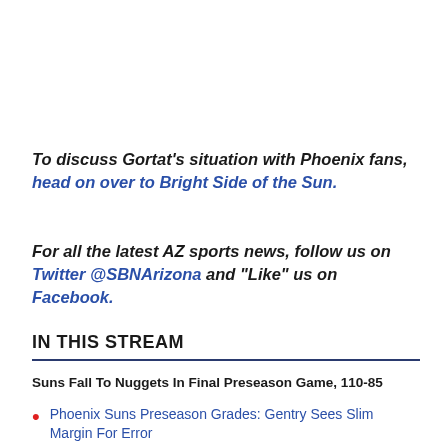To discuss Gortat's situation with Phoenix fans, head on over to Bright Side of the Sun.
For all the latest AZ sports news, follow us on Twitter @SBNArizona and "Like" us on Facebook.
IN THIS STREAM
Suns Fall To Nuggets In Final Preseason Game, 110-85
Phoenix Suns Preseason Grades: Gentry Sees Slim Margin For Error